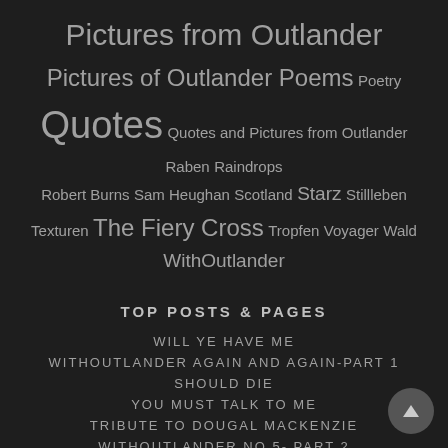Pictures from Outlander Pictures of Outlander Poems Poetry Quotes Quotes and Pictures from Outlander Raben Raindrops Robert Burns Sam Heughan Scotland Starz Stillleben Texturen The Fiery Cross Tropfen Voyager Wald WithOutlander
TOP POSTS & PAGES
WILL YE HAVE ME
WITHOUTLANDER AGAIN AND AGAIN-PART 1
SHOULD DIE
YOU MUST TALK TO ME
TRIBUTE TO DOUGAL MACKENZIE
WITHOUTLANDER NO.5- PART 2
A BATTERED EVE